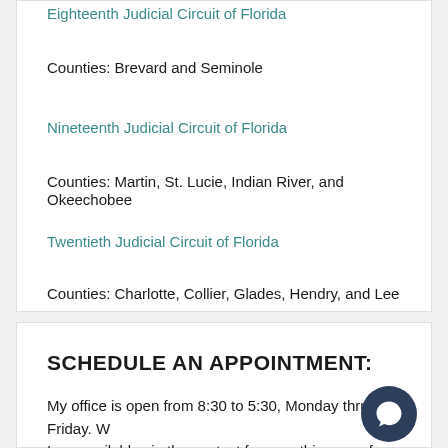Eighteenth Judicial Circuit of Florida
Counties: Brevard and Seminole
Nineteenth Judicial Circuit of Florida
Counties: Martin, St. Lucie, Indian River, and Okeechobee
Twentieth Judicial Circuit of Florida
Counties: Charlotte, Collier, Glades, Hendry, and Lee
SCHEDULE AN APPOINTMENT:
My office is open from 8:30 to 5:30, Monday thru Friday. W
I am available via the contact form on this page, for quicker